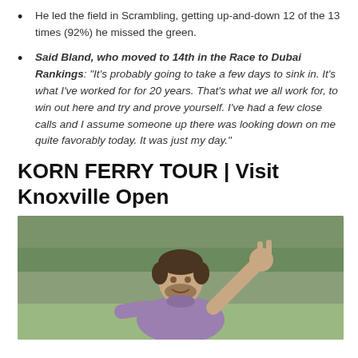He led the field in Scrambling, getting up-and-down 12 of the 13 times (92%) he missed the green.
Said Bland, who moved to 14th in the Race to Dubai Rankings: "It’s probably going to take a few days to sink in. It’s what I’ve worked for for 20 years. That’s what we all work for, to win out here and try and prove yourself. I’ve had a few close calls and I assume someone up there was looking down on me quite favorably today. It was just my day."
KORN FERRY TOUR | Visit Knoxville Open
[Figure (photo): A golfer in a purple polo shirt smiling and holding up two fingers (peace/victory sign) on a golf course with green grass and trees in the background.]